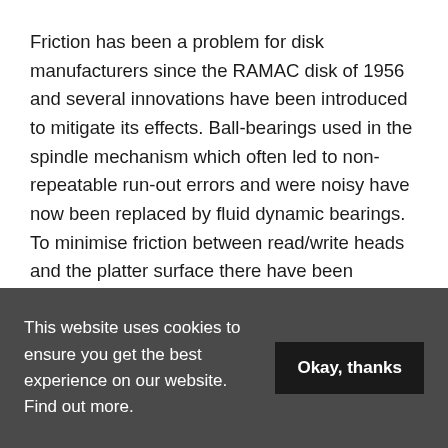Friction has been a problem for disk manufacturers since the RAMAC disk of 1956 and several innovations have been introduced to mitigate its effects. Ball-bearings used in the spindle mechanism which often led to non-repeatable run-out errors and were noisy have now been replaced by fluid dynamic bearings. To minimise friction between read/write heads and the platter surface there have been innovations also. For example, U-shaped slider rails have been introduced, but these have had limited success. Some disk manufacturers have introduced error-correcting software to “balance out” signal errors caused by asperities. In other cases, manufacturers use “thermal fly height” control software so the drive heads
This website uses cookies to ensure you get the best experience on our website. Find out more.
Okay, thanks